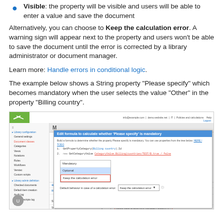Visible: the property will be visible and users will be able to enter a value and save the document
Alternatively, you can choose to Keep the calculation error. A warning sign will appear next to the property and users won't be able to save the document until the error is corrected by a library administrator or document manager.
Learn more: Handle errors in conditional logic.
The example below shows a String property "Please specify" which becomes mandatory when the user selects the value "Other" in the property "Billing country".
[Figure (screenshot): Screenshot of a web application showing a modal dialog titled 'Edit formula to calculate whether Please specify is mandatory', with formula code, options for Mandatory, Optional, and Keep the calculation error, and a dropdown set to 'Keep the calculation error'. Below the modal is a property list showing fields like Billing country and Hidden (true or false).]